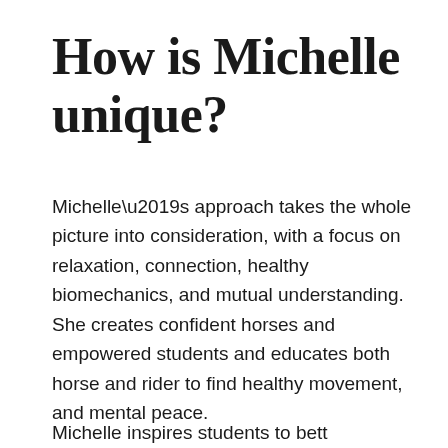How is Michelle unique?
Michelle’s approach takes the whole picture into consideration, with a focus on relaxation, connection, healthy biomechanics, and mutual understanding.
She creates confident horses and empowered students and educates both horse and rider to find healthy movement, and mental peace.
Michelle inspires students to bett...